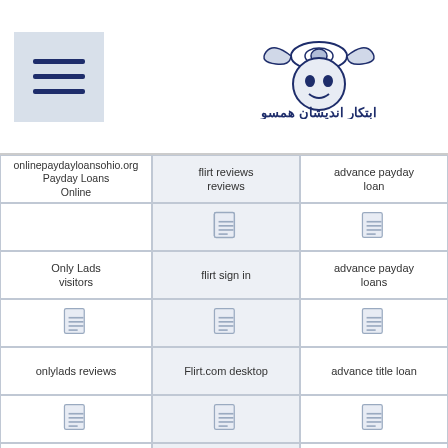Menu icon and logo header
| Col1 | Col2 | Col3 |
| --- | --- | --- |
| onlinepaydayloansohio.org Payday Loans Online | flirt reviews reviews | advance payday loan |
| [doc icon] | [doc icon] | [doc icon] |
| Only Lads visitors | flirt sign in | advance payday loans |
| [doc icon] | [doc icon] | [doc icon] |
| onylads reviews | Flirt.com desktop | advance title loan |
| [doc icon] | [doc icon] | [doc icon] |
| Oregon Online Payday Loans | FlirtFree online dating | adventist singles mobile site |
| [doc icon] | [doc icon] | [doc icon] |
| [doc icon] | flirtFfree reviews | [doc icon] |